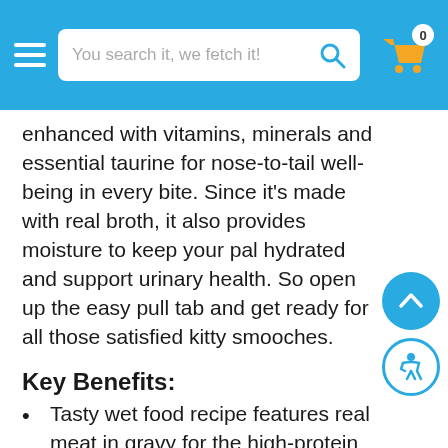You search it, we fetch it!
enhanced with vitamins, minerals and essential taurine for nose-to-tail well-being in every bite. Since it's made with real broth, it also provides moisture to keep your pal hydrated and support urinary health. So open up the easy pull tab and get ready for all those satisfied kitty smooches.
Key Benefits:
Tasty wet food recipe features real meat in gravy for the high-protein nutrition your little carnivore craves.
Enhanced with vitamins and minerals for overall well-being, and essential taurine for heart and vision health.
Provides a 100% complete and balanced meal for all cats, on its own or